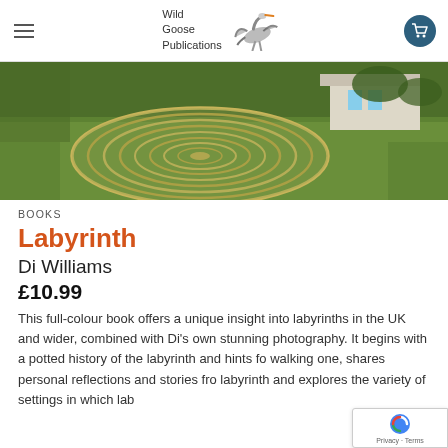Wild Goose Publications
[Figure (photo): Aerial or ground-level view of a large circular labyrinth mown into a grass lawn, with a building visible in the background.]
BOOKS
Labyrinth
Di Williams
£10.99
This full-colour book offers a unique insight into labyrinths in the UK and wider, combined with Di's own stunning photography. It begins with a potted history of the labyrinth and hints for walking one, shares personal reflections and stories from the labyrinth and explores the variety of settings in which labyrinths are encountered, from historic landscape settings to contemporary...